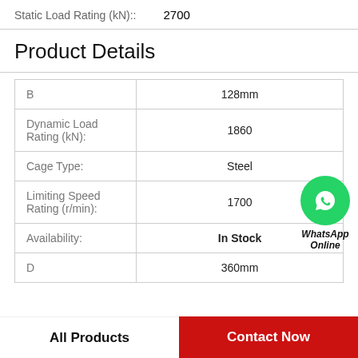Static Load Rating (kN):: 2700
Product Details
| Property | Value |
| --- | --- |
| B | 128mm |
| Dynamic Load Rating (kN): | 1860 |
| Cage Type: | Steel |
| Limiting Speed Rating (r/min): | 1700 |
| Availability: | In Stock |
| D | 360mm |
[Figure (logo): WhatsApp Online badge with green phone icon circle]
All Products   Contact Now